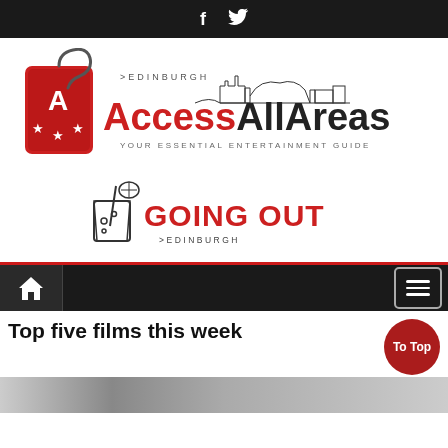f  (Twitter icon)
[Figure (logo): Access All Areas Edinburgh logo — red badge with AM stars, Edinburgh castle skyline drawing, red and black 'AccessAllAreas' text, tagline 'YOUR ESSENTIAL ENTERTAINMENT GUIDE']
[Figure (logo): Going Out Edinburgh logo — cartoon drink cup illustration, bold red 'GOING OUT' text, '>EDINBURGH' subtitle]
[Figure (other): Navigation bar with home icon on left and hamburger menu icon on right, dark background with red top border]
Top five films this week
[Figure (photo): Bottom strip showing partial film/cinema related image in greyscale]